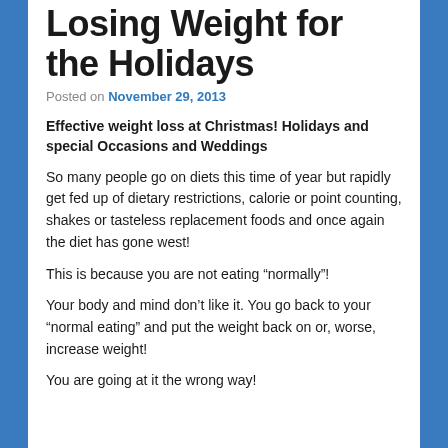Losing Weight for the Holidays
Posted on November 29, 2013
Effective weight loss at Christmas! Holidays and special Occasions and Weddings
So many people go on diets this time of year but rapidly get fed up of dietary restrictions, calorie or point counting, shakes or tasteless replacement foods and once again the diet has gone west!
This is because you are not eating “normally”!
Your body and mind don’t like it. You go back to your “normal eating” and put the weight back on or, worse, increase weight!
You are going at it the wrong way!